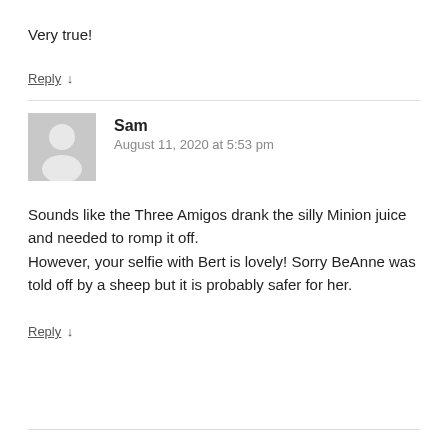Very true!
Reply ↓
[Figure (illustration): Generic user avatar: gray background with white silhouette of a person]
Sam
August 11, 2020 at 5:53 pm
Sounds like the Three Amigos drank the silly Minion juice and needed to romp it off.
However, your selfie with Bert is lovely! Sorry BeAnne was told off by a sheep but it is probably safer for her.
Reply ↓